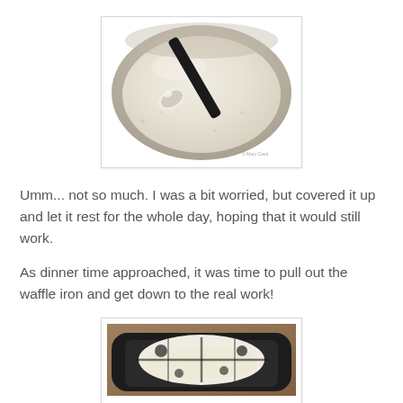[Figure (photo): Close-up photo of white batter in a white bowl being stirred with a black spoon/spatula. The batter looks thin and pale. A watermark is visible in the bottom right corner.]
Umm... not so much. I was a bit worried, but covered it up and let it rest for the whole day, hoping that it would still work.
As dinner time approached, it was time to pull out the waffle iron and get down to the real work!
[Figure (photo): Close-up photo of a black waffle iron with white batter being poured or spread on it, with black sections of the iron visible.]